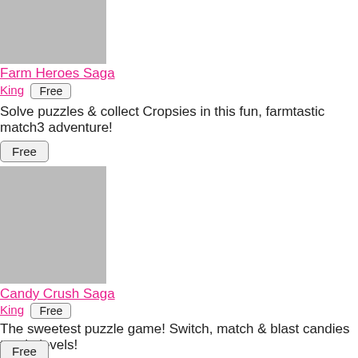[Figure (photo): Gray placeholder image for Farm Heroes Saga app icon]
Farm Heroes Saga
King  Free
Solve puzzles & collect Cropsies in this fun, farmtastic match3 adventure!
Free
[Figure (photo): Gray placeholder image for Candy Crush Saga app icon]
Candy Crush Saga
King  Free
The sweetest puzzle game! Switch, match & blast candies to win levels!
Free
[Figure (photo): Gray placeholder image for a third app icon (partially visible)]